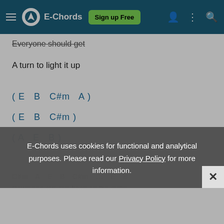E-Chords  Sign up Free
Everyone should get
A turn to light it up
( E  B  C#m  A )
( E  B  C#m )
( A  E  B )
C#m  A  E  B  C#m  ...  E  B
Down and out, I've been on the rocks
E-Chords uses cookies for functional and analytical purposes. Please read our Privacy Policy for more information.